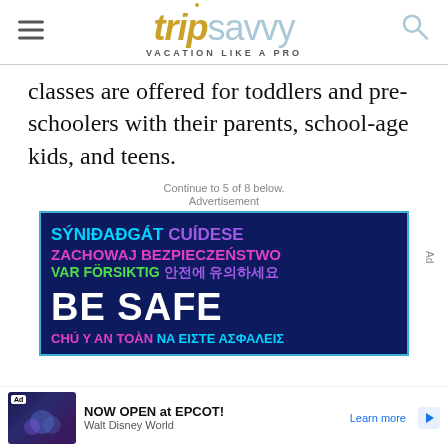tripsavvy VACATION LIKE A PRO
classes are offered for toddlers and pre-schoolers with their parents, school-age kids, and teens.
Continue to 5 of 8 below.
Advertisement
[Figure (photo): Advertisement banner with multilingual 'BE SAFE' message on dark blue background with colorful text in multiple languages including Icelandic, Polish, Swedish, Korean, Vietnamese, and Greek]
Ad
NOW OPEN at EPCOT! Walt Disney World Learn more